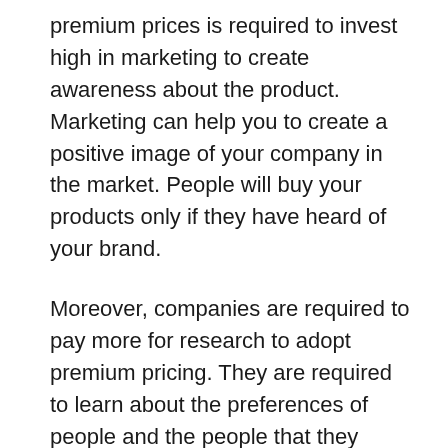premium prices is required to invest high in marketing to create awareness about the product. Marketing can help you to create a positive image of your company in the market. People will buy your products only if they have heard of your brand.
Moreover, companies are required to pay more for research to adopt premium pricing. They are required to learn about the preferences of people and the people that they want to target using a premium pricing strategy. All of this causes enormous expenses. If these costs are not included in the price of products, then the company is required to bear this cost.
In addition to this, understand your market and understand the people you are targeting to understand whether there is a need for a luxury product or not. If there is no need for a luxury product, then you will be wasting your money, and it will put a negative